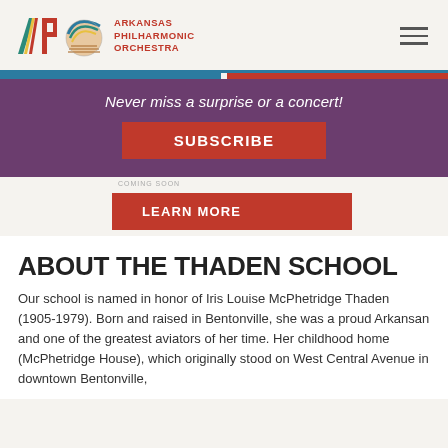Arkansas Philharmonic Orchestra
Never miss a surprise or a concert!
SUBSCRIBE
LEARN MORE
ABOUT THE THADEN SCHOOL
Our school is named in honor of Iris Louise McPhetridge Thaden (1905-1979). Born and raised in Bentonville, she was a proud Arkansan and one of the greatest aviators of her time. Her childhood home (McPhetridge House), which originally stood on West Central Avenue in downtown Bentonville,